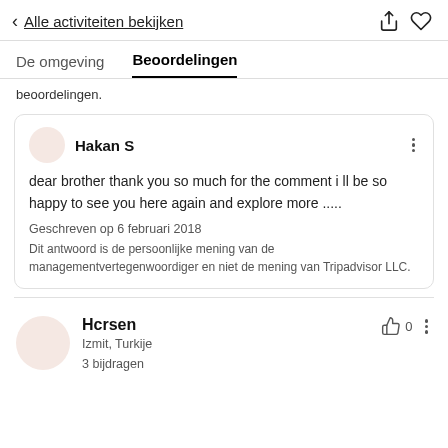Alle activiteiten bekijken
De omgeving   Beoordelingen
beoordelingen.
Hakan S
dear brother thank you so much for the comment i ll be so happy to see you here again and explore more .....
Geschreven op 6 februari 2018
Dit antwoord is de persoonlijke mening van de managementvertegenwoordiger en niet de mening van Tripadvisor LLC.
Hcrsen
Izmit, Turkije
3 bijdragen